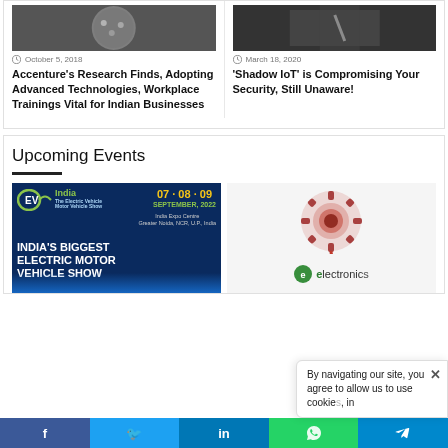[Figure (photo): Circular overhead photo of people in a meeting room]
October 5, 2018
Accenture's Research Finds, Adopting Advanced Technologies, Workplace Trainings Vital for Indian Businesses
[Figure (photo): Black and white photo of person with tool/instrument]
March 18, 2020
'Shadow IoT' is Compromising Your Security, Still Unaware!
Upcoming Events
[Figure (photo): EV India banner - India's Biggest Electric Motor Vehicle Show, 07-08-09 September 2022, India Expo Centre, Greater Noida, NCR, U.P., India]
[Figure (photo): Electronics For You event logo with mechanical gear illustration]
By navigating our site, you agree to allow us to use cookies, in accordance with our Cookie Policy.